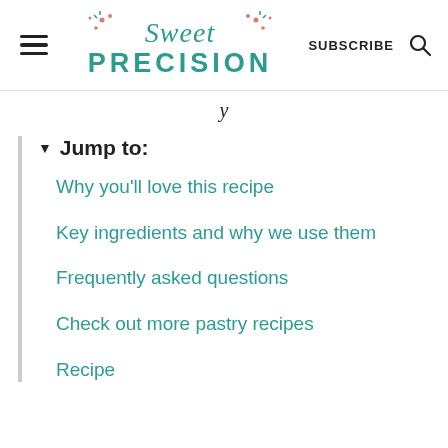Sweet Precision | SUBSCRIBE
y
▼ Jump to:
Why you'll love this recipe
Key ingredients and why we use them
Frequently asked questions
Check out more pastry recipes
Recipe